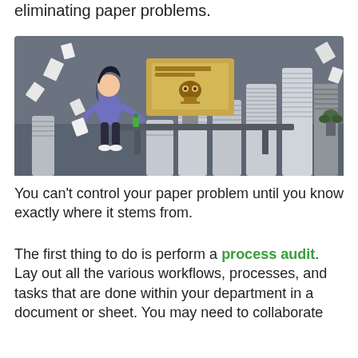eliminating paper problems.
[Figure (illustration): An illustrated scene showing a person overwhelmed by paper, sitting at a desk in a gray office environment. A monitor displays a robot/character. Tall stacks of papers surround the desk area. Papers are flying in the air.]
You can't control your paper problem until you know exactly where it stems from.
The first thing to do is perform a process audit. Lay out all the various workflows, processes, and tasks that are done within your department in a document or sheet. You may need to collaborate